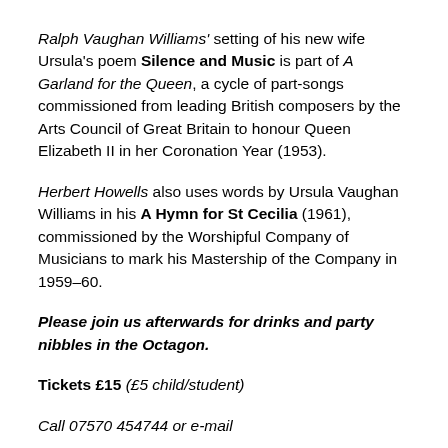Ralph Vaughan Williams' setting of his new wife Ursula's poem Silence and Music is part of A Garland for the Queen, a cycle of part-songs commissioned from leading British composers by the Arts Council of Great Britain to honour Queen Elizabeth II in her Coronation Year (1953).
Herbert Howells also uses words by Ursula Vaughan Williams in his A Hymn for St Cecilia (1961), commissioned by the Worshipful Company of Musicians to mark his Mastership of the Company in 1959–60.
Please join us afterwards for drinks and party nibbles in the Octagon.
Tickets £15 (£5 child/student)
Call 07570 454744 or e-mail